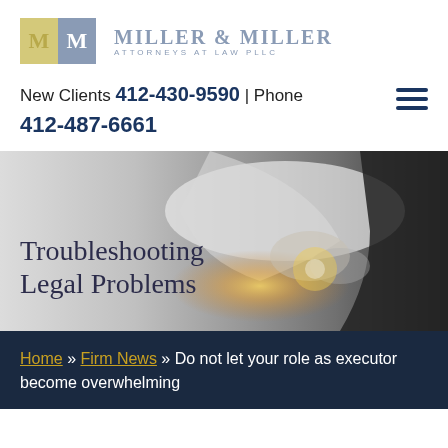[Figure (logo): Miller & Miller Attorneys at Law PLLC logo with two M letters in yellow and gray boxes]
New Clients 412-430-9590 | Phone 412-487-6661
[Figure (photo): Two people shaking hands, blurred background, hero image with text 'Troubleshooting Legal Problems']
Home » Firm News » Do not let your role as executor become overwhelming